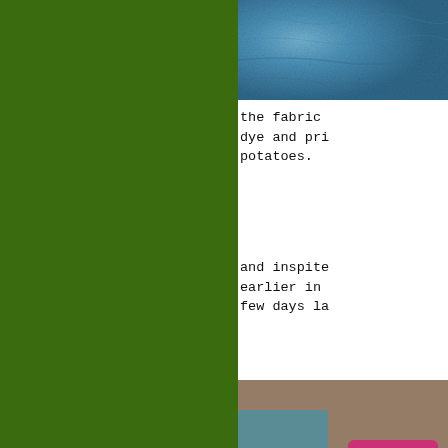[Figure (photo): Close-up photo of blue/teal mottled fabric texture]
the fabric dye and pri potatoes.
and inspite earlier in few days la
[Figure (photo): Workshop scene with pink/magenta trays and craft supplies on a table]
[Figure (photo): Workshop scene with craft materials and supplies]